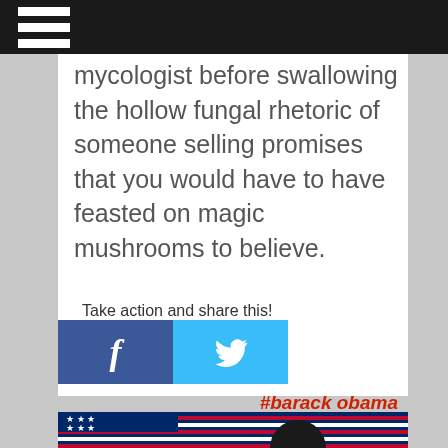☰ (hamburger menu)
mycologist before swallowing the hollow fungal rhetoric of someone selling promises that you would have to have feasted on magic mushrooms to believe.
Take action and share this!
[Figure (other): Facebook and Twitter social share buttons]
#barack obama
[Figure (photo): Photo of a person in front of an American flag]